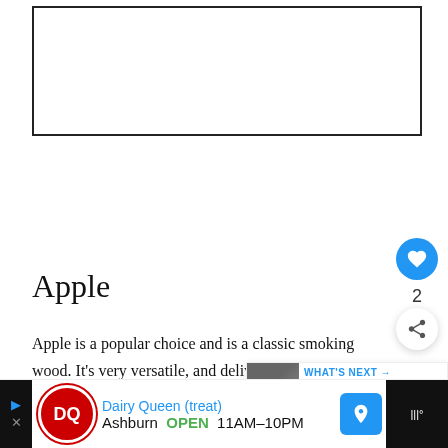[Figure (other): Empty white rectangle with black border, likely an advertisement placeholder]
Apple
Apple is a popular choice and is a classic smoking wood. It's very versatile, and delivers a mi and fruity flavour. Most of the time it's paired with
[Figure (other): Floating UI: heart favorite button (blue circle), count '2', and share button (white circle with share icon)]
[Figure (other): What's Next overlay with image thumbnail and text: WHAT'S NEXT → Best Wood For Smoking...]
[Figure (other): Bottom advertisement banner: Dairy Queen (treat) - Ashburn OPEN 11AM–10PM with DQ logo and navigation icon]